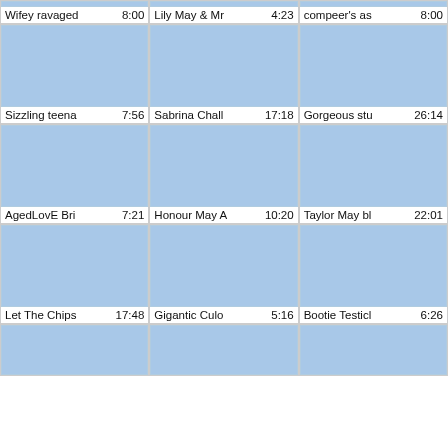[Figure (screenshot): Grid of video thumbnails with titles and durations. Row 0 (partial): Wifey ravaged 8:00, Lily May & Mr 4:23, compeer's as 8:00. Row 1 thumbnails + text: Sizzling teena 7:56, Sabrina Chall 17:18, Gorgeous stu 26:14. Row 2 thumbnails + text: AgedLovE Bri 7:21, Honour May A 10:20, Taylor May bl 22:01. Row 3 thumbnails + text: Let The Chips 17:48, Gigantic Culo 5:16, Bootie Testicl 6:26. Row 4 (partial thumbnails visible at bottom).]